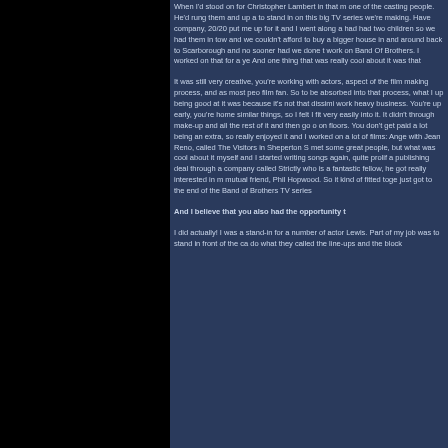When I'd stood on for Christopher Lambert in that m... one of the casting people. He'd rung them and up a... to stand in on this big TV series we're making. Have... company, 20/20 put me up for it and I went along a... had had two children so we had them in tow and we... couldn't afford to buy a bigger house in and around... back to Scarborough and no sooner had we done t... work on Band Of Brothers. I worked on that for a ye... And one thing that was really cool about it was that...
It was still very creative, you're working with actors,... aspect of the film making process, and as most peo... film fan. So to be absorbed into that process, what I... up being good at it was because it's not that dissimi... work heavy business. You're up early, you're home... similar things, so I felt I fit very easily into it. It didn't... through make-up and all the rest of it and then go o... on floors. You don't get paid a lot being an extra, so... really enjoyed it and I worked on a lot of films: Ange... with Jean Reno, called The Visitors in Sheperton St... met some great people, but what was cool about it... myself and I started writing songs again, quite prolif... a publishing deal through a company called Strictly... who is a fantastic fellow, he got really interested in m... mutual friend, Phil Hopwood. So it kind of fitted toge... just got to the end of the Band of Brothers TV series...
And I believe that you also had the opportunity t...
I did actually! I was a stand-in for a number of actor... Lewis. Part of my job was to stand in front of the ca... do what they called the line-ups and the block...